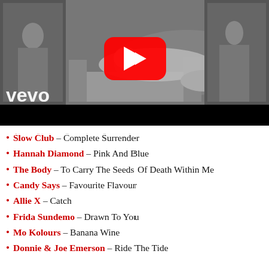[Figure (screenshot): Black and white Vevo music video thumbnail showing a woman reclining on a couch, with YouTube play button overlay and 'vevo' logo in bottom left]
Slow Club – Complete Surrender
Hannah Diamond – Pink And Blue
The Body – To Carry The Seeds Of Death Within Me
Candy Says – Favourite Flavour
Allie X – Catch
Frida Sundemo – Drawn To You
Mo Kolours – Banana Wine
Donnie & Joe Emerson – Ride The Tide